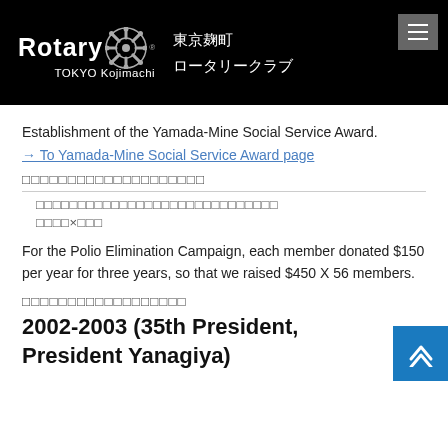Rotary TOKYO Kojimachi 東京麹町 ロータリークラブ
Establishment of the Yamada-Mine Social Service Award.
→ To Yamada-Mine Social Service Award page
□□□□□□□□□□□□□□□□□□□□
□□□□□□□□□□□□□□□□□□□□□□□□□□□□□
□□□□×□□□
For the Polio Elimination Campaign, each member donated $150 per year for three years, so that we raised $450 X 56 members.
□□□□□□□□□□□□□□□□□□
2002-2003 (35th President, President Yanagiya)